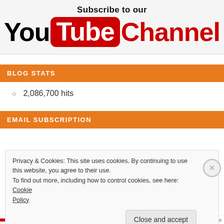[Figure (logo): YouTube channel subscription banner with 'Subscribe to our YouTube Channel' text and YouTube logo]
BLOG STATS
2,086,700 hits
EMAIL SUBSCRIPTION
Privacy & Cookies: This site uses cookies. By continuing to use this website, you agree to their use.
To find out more, including how to control cookies, see here: Cookie Policy
Close and accept